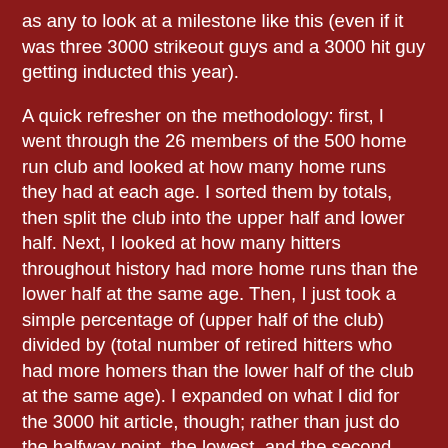as any to look at a milestone like this (even if it was three 3000 strikeout guys and a 3000 hit guy getting inducted this year).
A quick refresher on the methodology: first, I went through the 26 members of the 500 home run club and looked at how many home runs they had at each age. I sorted them by totals, then split the club into the upper half and lower half. Next, I looked at how many hitters throughout history had more home runs than the lower half at the same age. Then, I just took a simple percentage of (upper half of the club) divided by (total number of retired hitters who had more homers than the lower half of the club at the same age). I expanded on what I did for the 3000 hit article, though; rather than just do the halfway point, the lowest, and the second lowest, I threw in the quartiles (the halfway marks of the halves). That way, I could estimate the odds for players above 25% and 75% of the 500 homer club.
In each grouping, I took out the players in the quartile above, so that I'm not double counting, say, the guys in the top quartile as in the second quartile as well even though they